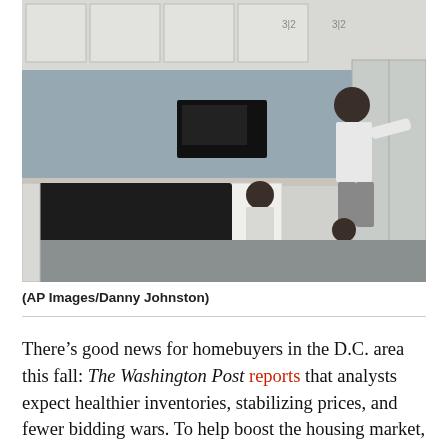[Figure (photo): Kitchen scene with a man standing near refrigerator and two young children on the floor. White stove and cabinets visible. Gray-blue walls and flooring.]
(AP Images/Danny Johnston)
There’s good news for homebuyers in the D.C. area this fall: The Washington Post reports that analysts expect healthier inventories, stabilizing prices, and fewer bidding wars. To help boost the housing market,